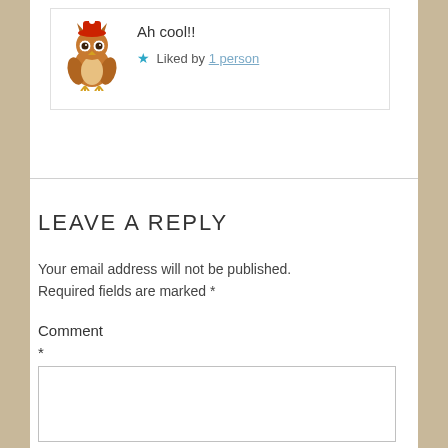[Figure (illustration): Avatar of an owl cartoon character wearing a red hat, rendered in watercolor style]
Ah cool!!
★ Liked by 1 person
LEAVE A REPLY
Your email address will not be published. Required fields are marked *
Comment
*